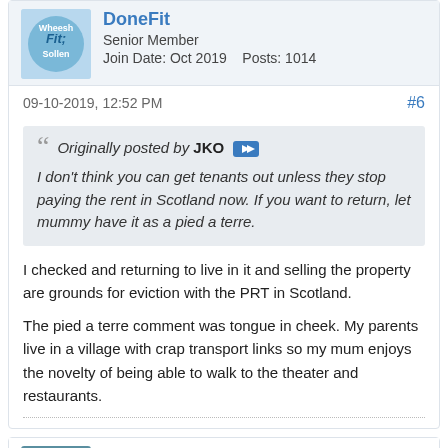Senior Member
Join Date: Oct 2019    Posts: 1014
09-10-2019, 12:52 PM
#6
Originally posted by JKO
I don't think you can get tenants out unless they stop paying the rent in Scotland now. If you want to return, let mummy have it as a pied a terre.
I checked and returning to live in it and selling the property are grounds for eviction with the PRT in Scotland.
The pied a terre comment was tongue in cheek. My parents live in a village with crap transport links so my mum enjoys the novelty of being able to walk to the theater and restaurants.
Flashback1966
Senior Member